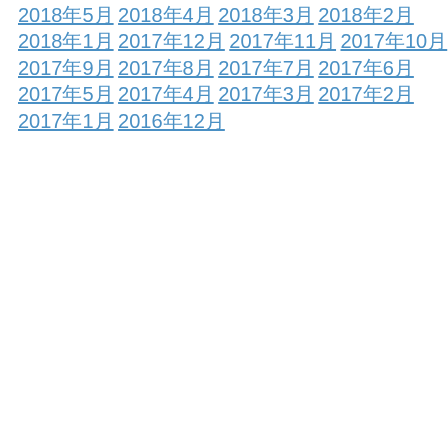2018年5月
2018年4月
2018年3月
2018年2月
2018年1月
2017年12月
2017年11月
2017年10月
2017年9月
2017年8月
2017年7月
2017年6月
2017年5月
2017年4月
2017年3月
2017年2月
2017年1月
2016年12月